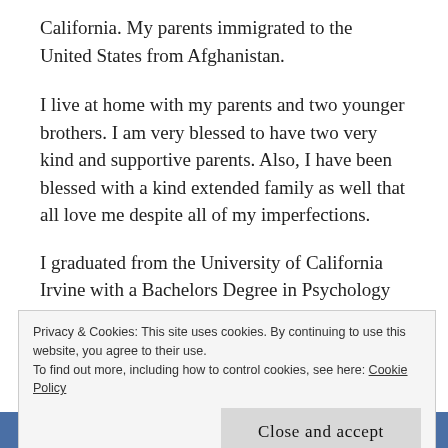California. My parents immigrated to the United States from Afghanistan.
I live at home with my parents and two younger brothers. I am very blessed to have two very kind and supportive parents. Also, I have been blessed with a kind extended family as well that all love me despite all of my imperfections.
I graduated from the University of California Irvine with a Bachelors Degree in Psychology in the Spring of 2017.
Privacy & Cookies: This site uses cookies. By continuing to use this website, you agree to their use.
To find out more, including how to control cookies, see here: Cookie Policy
Close and accept
Follow